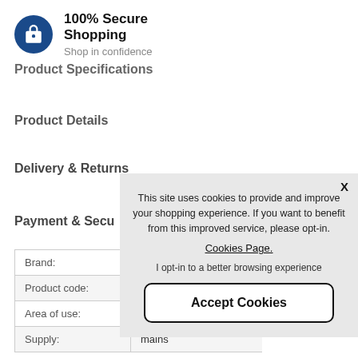[Figure (logo): Blue circular lock icon for 100% Secure Shopping]
100% Secure Shopping
Shop in confidence
Product Specifications
Product Details
Delivery & Returns
Payment & Secu[rity]
[Figure (screenshot): Cookie consent popup overlay with text: This site uses cookies to provide and improve your shopping experience. If you want to benefit from this improved service, please opt-in. Cookies Page. I opt-in to a better browsing experience. Accept Cookies button.]
| Brand: |  |
| Product code: |  |
| Area of use: |  |
| Supply: | mains |